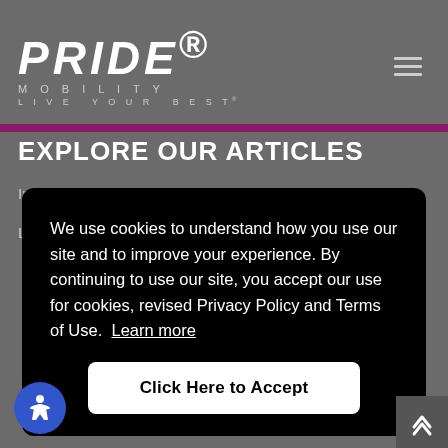PRIDE MOBILITY - LIVE YOUR BEST
EXPLORE OUR ARTICLES
Inside Pride Mobility
Lifestyle
We use cookies to understand how you use our site and to improve your experience. By continuing to use our site, you accept our use for cookies, revised Privacy Policy and Terms of Use. Learn more
Click Here to Accept